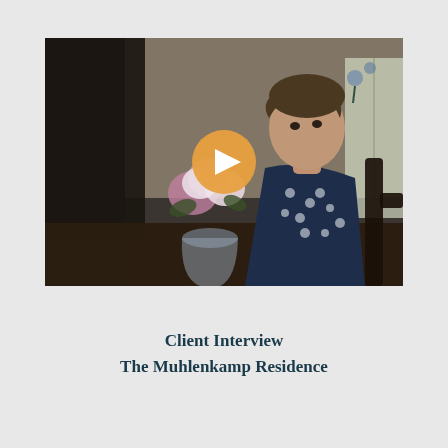[Figure (photo): Video thumbnail showing a middle-aged woman seated at a dining table with a flower arrangement to her left, in a home interior setting. A circular orange play button overlay is centered on the image.]
Client Interview
The Muhlenkamp Residence